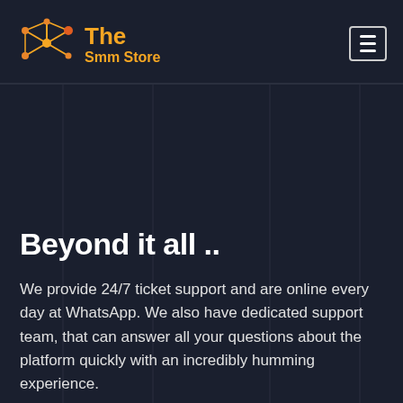[Figure (logo): The Smm Store logo with orange network/molecule icon and orange text]
Beyond it all ..
We provide 24/7 ticket support and are online every day at WhatsApp. We also have dedicated support team, that can answer all your questions about the platform quickly with an incredibly humming experience.